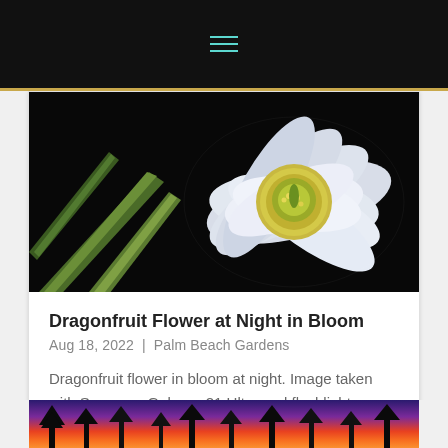≡
[Figure (photo): Close-up photograph of a white dragonfruit flower in bloom at night, with yellow-green center stamens and long green cactus arms visible on a dark black background.]
Dragonfruit Flower at Night in Bloom
Aug 18, 2022 | Palm Beach Gardens
Dragonfruit flower in bloom at night. Image taken with Samsung Galaxy s21 Ultra and flashlight.
[Figure (photo): Bottom portion of a sunset photograph showing silhouetted trees against a vivid orange, red and purple sky.]